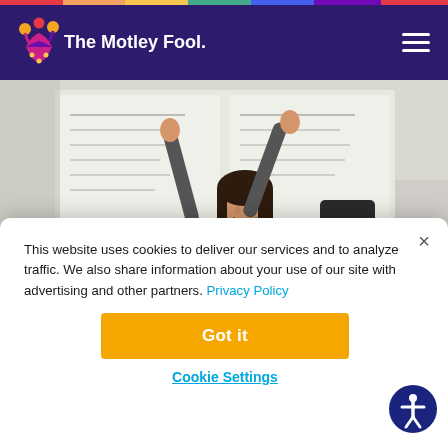The Motley Fool - navigation header
[Figure (photo): Woman in business attire celebrating with arms raised in an office environment with whiteboards in the background]
This website uses cookies to deliver our services and to analyze traffic. We also share information about your use of our site with advertising and other partners. Privacy Policy
Got it
Cookie Settings